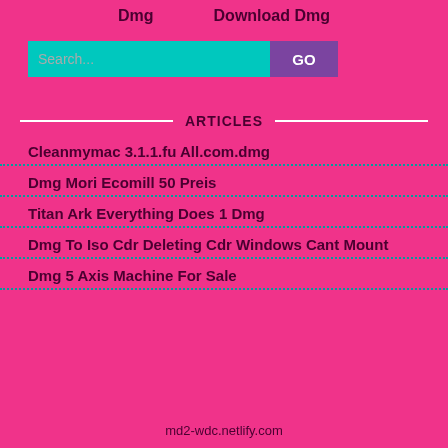Dmg    Download Dmg
[Figure (other): Search bar with cyan background and GO button]
ARTICLES
Cleanmymac 3.1.1.fu All.com.dmg
Dmg Mori Ecomill 50 Preis
Titan Ark Everything Does 1 Dmg
Dmg To Iso Cdr Deleting Cdr Windows Cant Mount
Dmg 5 Axis Machine For Sale
md2-wdc.netlify.com